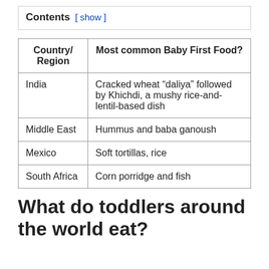Contents [ show ]
| Country/
Region | Most common Baby First Food? |
| --- | --- |
| India | Cracked wheat “daliya” followed by Khichdi, a mushy rice-and-lentil-based dish |
| Middle East | Hummus and baba ganoush |
| Mexico | Soft tortillas, rice |
| South Africa | Corn porridge and fish |
What do toddlers around the world eat?